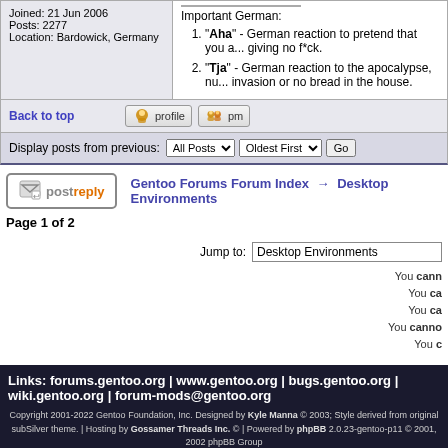Joined: 21 Jun 2006
Posts: 2277
Location: Bardowick, Germany
Important German:
1. "Aha" - German reaction to pretend that you a... giving no f*ck.
2. "Tja" - German reaction to the apocalypse, nu... invasion or no bread in the house.
Back to top
Display posts from previous: All Posts | Oldest First | Go
Gentoo Forums Forum Index → Desktop Environments
Page 1 of 2
Jump to: Desktop Environments
You cann
You ca
You ca
You canno
You c
Links: forums.gentoo.org | www.gentoo.org | bugs.gentoo.org | wiki.gentoo.org | forum-mods@gentoo.org
Copyright 2001-2022 Gentoo Foundation, Inc. Designed by Kyle Manna © 2003; Style derived from original subSilver theme. | Hosting by Gossamer Threads Inc. © | Powered by phpBB 2.0.23-gentoo-p11 © 2001, 2002 phpBB Group
Privacy Policy